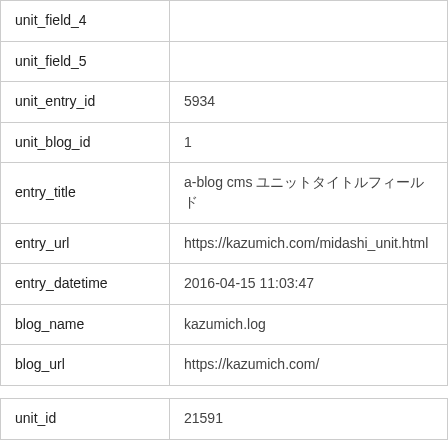| Field | Value |
| --- | --- |
| unit_field_4 |  |
| unit_field_5 |  |
| unit_entry_id | 5934 |
| unit_blog_id | 1 |
| entry_title | a-blog cms ユニットタイトルフィールド |
| entry_url | https://kazumich.com/midashi_unit.html |
| entry_datetime | 2016-04-15 11:03:47 |
| blog_name | kazumich.log |
| blog_url | https://kazumich.com/ |
| Field | Value |
| --- | --- |
| unit_id | 21591 |